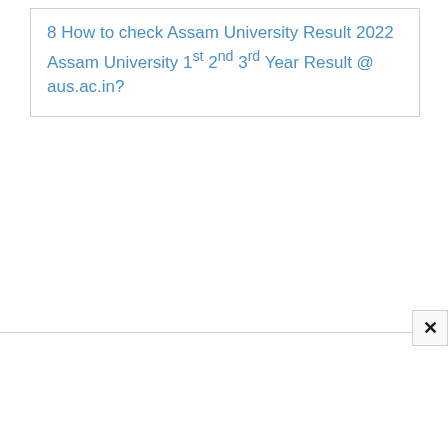8 How to check Assam University Result 2022 Assam University 1st 2nd 3rd Year Result @ aus.ac.in?
[Figure (screenshot): Close button (X) UI element in bottom-right area]